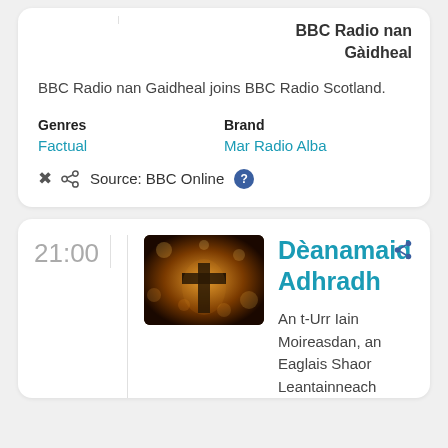BBC Radio nan Gàidheal
BBC Radio nan Gaidheal joins BBC Radio Scotland.
Genres
Factual
Brand
Mar Radio Alba
Source: BBC Online
21:00
[Figure (photo): Silhouette of a cross with warm bokeh lights in the background]
Dèanamaid Adhradh
An t-Urr Iain Moireasdan, an Eaglais Shaor Leantainneach